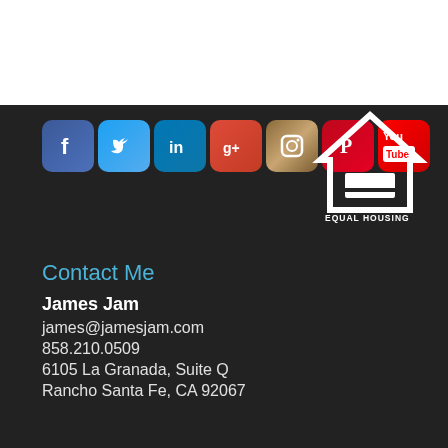[Figure (logo): Social media icons row: Facebook, Twitter, LinkedIn, Google+, Instagram, Pinterest, YouTube]
[Figure (logo): Equal Housing Opportunity logo with house icon and text]
Contact Me
James Jam
james@jamesjam.com
858.210.0509
6105 La Granada, Suite Q
Rancho Santa Fe, CA 92067
DRE 01858458, BHHS DRE 01317331